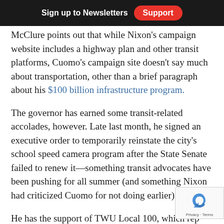Sign up to Newsletters | Support
McClure points out that while Nixon's campaign website includes a [highway plan] and other transit platforms, Cuomo's campaign site doesn't say much about transportation, other than a brief paragraph about his $100 billion infrastructure program.
The governor has earned some transit-related accolades, however. Late last month, he signed an executive order to temporarily reinstate the city's school speed camera program after the State Senate failed to renew it—something transit advocates have been pushing for all summer (and something Nixon had criticized Cuomo for not doing earlier).
He has the support of TWU Local 100, which rep[resents] MTA employees, with President Tony Utano sayi[ng] Cuomo has done more for the system and its workers